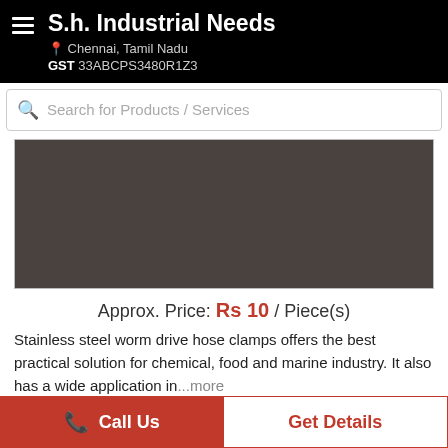S.h. Industrial Needs · Chennai, Tamil Nadu · GST 33ABCPS3480R1Z3
Search for Products / Services
[Figure (photo): Product image placeholder — dark brownish-gray rectangle representing a stainless steel worm drive hose clamp product photo]
Approx. Price: Rs 10 / Piece(s)
Stainless steel worm drive hose clamps offers the best practical solution for chemical, food and marine industry. It also has a wide application in...more
Call Us
Get Details